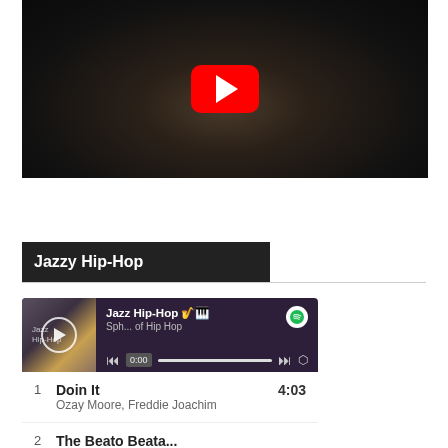[Figure (screenshot): YouTube video thumbnail showing a man with a beard on a dark background with a YouTube play button overlay in the center]
Jazzy Hip-Hop
[Figure (screenshot): Spotify embedded music player showing 'Jazz Hip-Hop' playlist by Sph... of Hip Hop, with playback controls at 0:00, and track listing showing '1 Doin It - Ozay Moore, Freddie Joachim 4:03' and a partially visible second track]
1  Doin It  4:03
Ozay Moore, Freddie Joachim